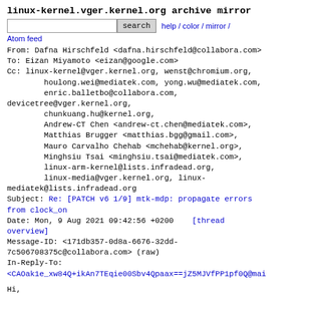linux-kernel.vger.kernel.org archive mirror
search  help / color / mirror / Atom feed
From: Dafna Hirschfeld <dafna.hirschfeld@collabora.com>
To: Eizan Miyamoto <eizan@google.com>
Cc: linux-kernel@vger.kernel.org, wenst@chromium.org,
        houlong.wei@mediatek.com, yong.wu@mediatek.com,
        enric.balletbo@collabora.com,
devicetree@vger.kernel.org,
        chunkuang.hu@kernel.org,
        Andrew-CT Chen <andrew-ct.chen@mediatek.com>,
        Matthias Brugger <matthias.bgg@gmail.com>,
        Mauro Carvalho Chehab <mchehab@kernel.org>,
        Minghsiu Tsai <minghsiu.tsai@mediatek.com>,
        linux-arm-kernel@lists.infradead.org,
        linux-media@vger.kernel.org, linux-
mediatek@lists.infradead.org
Subject: Re: [PATCH v6 1/9] mtk-mdp: propagate errors from clock_on
Date: Mon, 9 Aug 2021 09:42:56 +0200   [thread overview]
Message-ID: <171db357-0d8a-6676-32dd-7c506708375c@collabora.com> (raw)
In-Reply-To:
<CAOak1e_xw84Q+ikAn7TEqie00Sbv4Qpaax==jZ5MJVfPP1pf0Q@mai
Hi,